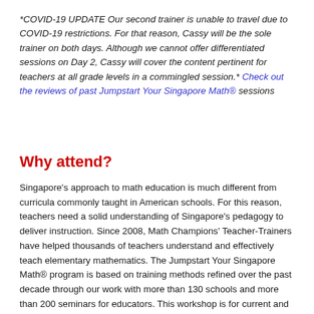*COVID-19 UPDATE Our second trainer is unable to travel due to COVID-19 restrictions. For that reason, Cassy will be the sole trainer on both days. Although we cannot offer differentiated sessions on Day 2, Cassy will cover the content pertinent for teachers at all grade levels in a commingled session.* Check out the reviews of past Jumpstart Your Singapore Math® sessions
Why attend?
Singapore's approach to math education is much different from curricula commonly taught in American schools. For this reason, teachers need a solid understanding of Singapore's pedagogy to deliver instruction. Since 2008, Math Champions' Teacher-Trainers have helped thousands of teachers understand and effectively teach elementary mathematics. The Jumpstart Your Singapore Math® program is based on training methods refined over the past decade through our work with more than 130 schools and more than 200 seminars for educators. This workshop is for current and